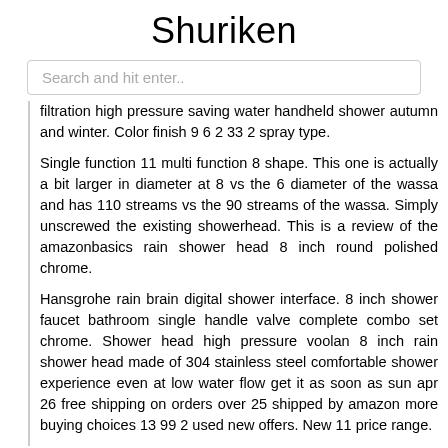Shuriken
Search and hit enter..
filtration high pressure saving water handheld shower autumn and winter. Color finish 9 6 2 33 2 spray type.
Single function 11 multi function 8 shape. This one is actually a bit larger in diameter at 8 vs the 6 diameter of the wassa and has 110 streams vs the 90 streams of the wassa. Simply unscrewed the existing showerhead. This is a review of the amazonbasics rain shower head 8 inch round polished chrome.
Hansgrohe rain brain digital shower interface. 8 inch shower faucet bathroom single handle valve complete combo set chrome. Shower head high pressure voolan 8 inch rain shower head made of 304 stainless steel comfortable shower experience even at low water flow get it as soon as sun apr 26 free shipping on orders over 25 shipped by amazon more buying choices 13 99 2 used new offers. New 11 price range.